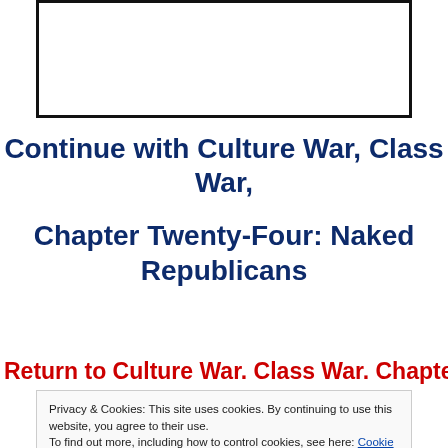[Figure (other): Empty bordered rectangle box at top of page]
Continue with Culture War, Class War,
Chapter Twenty-Four: Naked Republicans
Return to Culture War. Class War. Chapter
Privacy & Cookies: This site uses cookies. By continuing to use this website, you agree to their use.
To find out more, including how to control cookies, see here: Cookie Policy
Close and accept